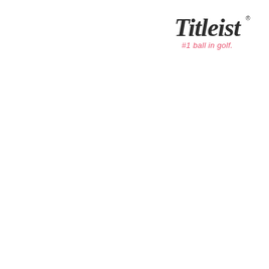[Figure (logo): Titleist brand logo with script wordmark '#1 ball in golf.' tagline in pink/red italic text below]